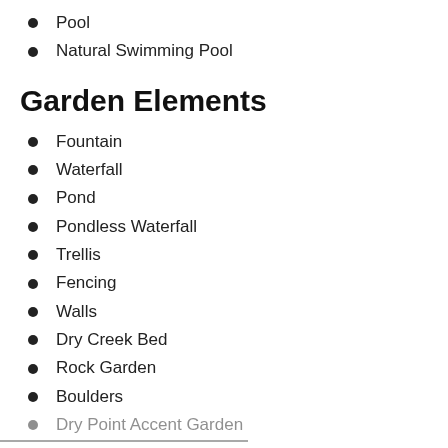Pool
Natural Swimming Pool
Garden Elements
Fountain
Waterfall
Pond
Pondless Waterfall
Trellis
Fencing
Walls
Dry Creek Bed
Rock Garden
Boulders
Dry Point/Accent Garden (partial)